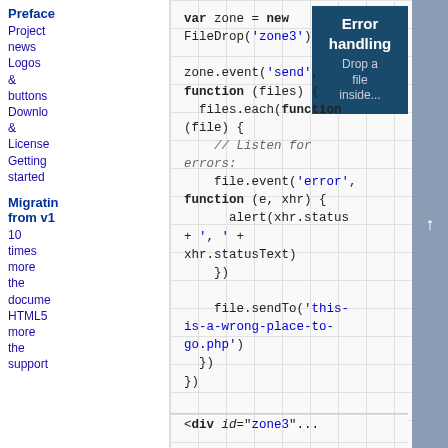Preface
Project news
Logos & buttons
Downlo & License
Getting started
Migrating from v1
10 times more the docume HTML5 more the support
[Figure (screenshot): Error handling demo box showing 'Drop a file inside...' with dark teal background]
var zone = new FileDrop('zone3')

zone.event('send', function (files) {
  files.each(function (file) {
    // Listen for errors:
    file.event('error', function (e, xhr) {
      alert(xhr.status + ', ' + xhr.statusText)
    })

    file.sendTo('this-is-a-wrong-place-to-go.php')
  })
})
<div id="zone3"...